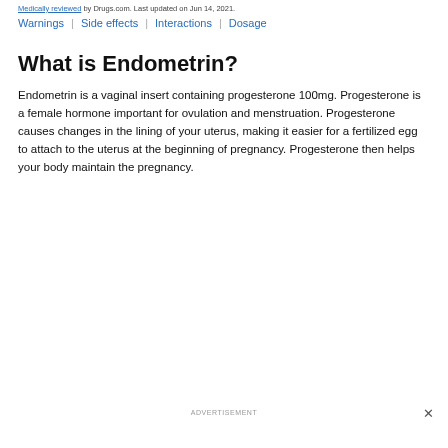Medically reviewed by Drugs.com. Last updated on Jun 14, 2021.
Warnings | Side effects | Interactions | Dosage
What is Endometrin?
Endometrin is a vaginal insert containing progesterone 100mg. Progesterone is a female hormone important for ovulation and menstruation. Progesterone causes changes in the lining of your uterus, making it easier for a fertilized egg to attach to the uterus at the beginning of pregnancy. Progesterone then helps your body maintain the pregnancy.
ADVERTISEMENT